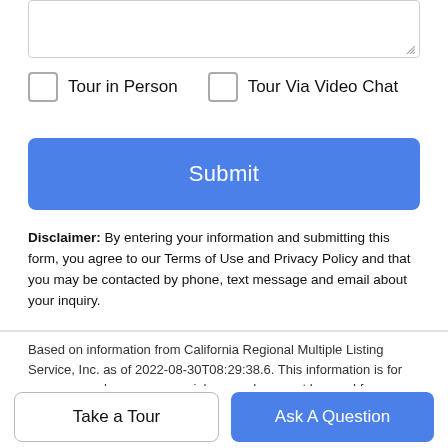Tour in Person
Tour Via Video Chat
Submit
Disclaimer: By entering your information and submitting this form, you agree to our Terms of Use and Privacy Policy and that you may be contacted by phone, text message and email about your inquiry.
Based on information from California Regional Multiple Listing Service, Inc. as of 2022-08-30T08:29:38.6. This information is for your personal, non-commercial use and may not be used for any purpose other than to identify prospective properties you may be interested in purchasing. Display of MLS data is deemed reliable but is not guaranteed accurate by the MLS or Veronica Encinas Team | Coldwell Banker Realty. Licensed in the State of California,
Take a Tour
Ask A Question